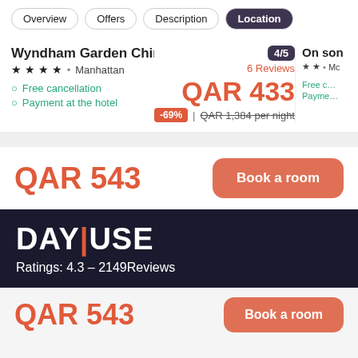Overview | Offers | Description | Location
Wyndham Garden Chinatown ★★★★ • Manhattan — 4/5 — 6 Reviews
Free cancellation
Payment at the hotel
QAR 433 | -69% | QAR 1,384 per night
On son ★★ • Mo
QAR 543
Book a room
[Figure (logo): DAYUSE logo in white on dark navy background]
Ratings: 4.3 - 2149Reviews
QAR 543
Book a room